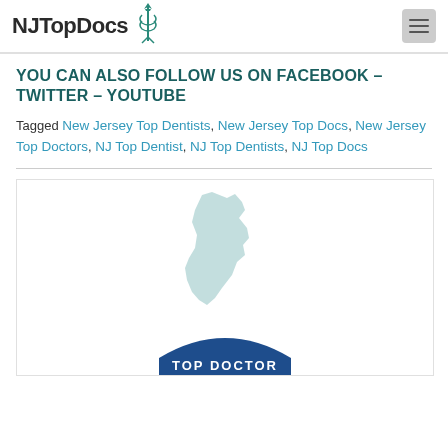NJ Top Docs
YOU CAN ALSO FOLLOW US ON FACEBOOK – TWITTER – YOUTUBE
Tagged New Jersey Top Dentists, New Jersey Top Docs, New Jersey Top Doctors, NJ Top Dentist, NJ Top Dentists, NJ Top Docs
[Figure (logo): NJ Top Docs Top Doctor badge featuring a light blue silhouette of New Jersey state and a dark blue curved banner reading TOP DOCTOR]